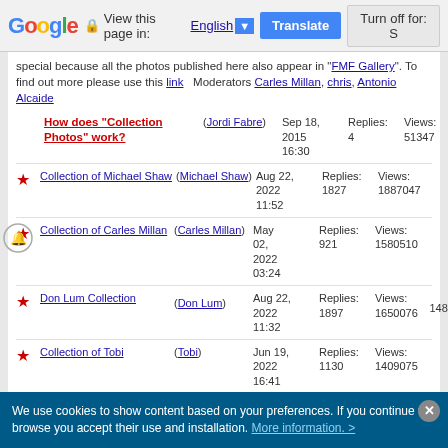Google — View this page in: English ▼ | Translate | Turn off for: S
special because all the photos published here also appear in "FMF Gallery". To find out more please use this link   Moderators Carles Millan, chris, Antonio Alcaide
How does "Collection Photos" work? (Jordi Fabre) Sep 18, 2015 16:30 Replies: 4 Views: 51347
★ Collection of Michael Shaw (Michael Shaw) Aug 22, 2022 11:52 Replies: 1827 Views: 1887047
★ Collection of Carles Millan (Carles Millan) May 02, 2022 03:24 Replies: 921 Views: 1580510
★ Don Lum Collection (Don Lum) Aug 22, 2022 11:32 Replies: 1897 Views: 1650076
★ Collection of Tobi (Tobi) Jun 19, 2022 16:41 Replies: 1130 Views: 1409075
★ The Mizunaka Collection (am mizunaka) Aug 20, 2022 19:41 Replies: 2001 Views: 1623282
★ New generation for picture - Ploum (ploum) Aug 22, 2022 11:23 Replies: 1390 Views: 1365676
★ Collection of  Jul 25, Replies: Views:
148
We use cookies to show content based on your preferences. If you continue to browse you accept their use and installation. More information. >